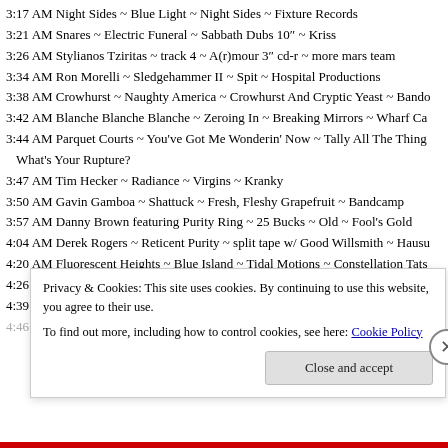3:17 AM Night Sides ~ Blue Light ~ Night Sides ~ Fixture Records
3:21 AM Snares ~ Electric Funeral ~ Sabbath Dubs 10" ~ Kriss
3:26 AM Stylianos Tziritas ~ track 4 ~ A(r)mour 3" cd-r ~ more mars team
3:34 AM Ron Morelli ~ Sledgehammer II ~ Spit ~ Hospital Productions
3:38 AM Crowhurst ~ Naughty America ~ Crowhurst And Cryptic Yeast ~ Bando
3:42 AM Blanche Blanche Blanche ~ Zeroing In ~ Breaking Mirrors ~ Wharf Ca
3:44 AM Parquet Courts ~ You've Got Me Wonderin' Now ~ Tally All The Thing What's Your Rupture?
3:47 AM Tim Hecker ~ Radiance ~ Virgins ~ Kranky
3:50 AM Gavin Gamboa ~ Shattuck ~ Fresh, Fleshy Grapefruit ~ Bandcamp
3:57 AM Danny Brown featuring Purity Ring ~ 25 Bucks ~ Old ~ Fool's Gold
4:04 AM Derek Rogers ~ Reticent Purity ~ split tape w/ Good Willsmith ~ Hausu
4:20 AM Fluorescent Heights ~ Blue Island ~ Tidal Motions ~ Constellation Tats
4:26 AM CFCF ~ Jump Out Of The Train ~ Outside ~ Paper Bag
4:39 AM Iannis Xenakis ~ Diamorphoses ~ GRM Works 1957-1962 ~ Recollecti
4:46 AM Mo Sane ~ Radio Slave (for Whitcomb) ~ The Passivore Backing ~ Mc
Privacy & Cookies: This site uses cookies. By continuing to use this website, you agree to their use. To find out more, including how to control cookies, see here: Cookie Policy
Close and accept